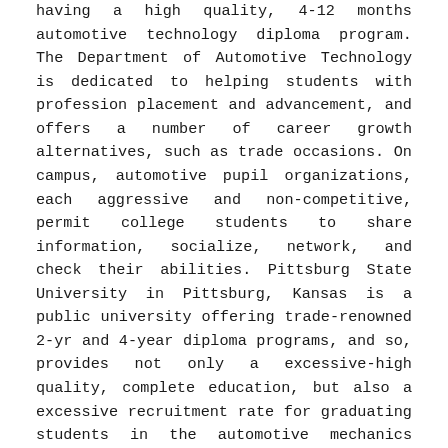having a high quality, 4-12 months automotive technology diploma program. The Department of Automotive Technology is dedicated to helping students with profession placement and advancement, and offers a number of career growth alternatives, such as trade occasions. On campus, automotive pupil organizations, each aggressive and non-competitive, permit college students to share information, socialize, network, and check their abilities. Pittsburg State University in Pittsburg, Kansas is a public university offering trade-renowned 2-yr and 4-year diploma programs, and so, provides not only a excessive-high quality, complete education, but also a excessive recruitment rate for graduating students in the automotive mechanics business. Northern Michigan University, located in Marquette, Michigan, is a public college whose automotive programs are dedicated to preparing students for, and helping